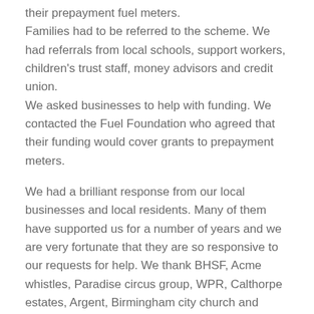their prepayment fuel meters. Families had to be referred to the scheme. We had referrals from local schools, support workers, children's trust staff, money advisors and credit union. We asked businesses to help with funding. We contacted the Fuel Foundation who agreed that their funding would cover grants to prepayment meters.

We had a brilliant response from our local businesses and local residents. Many of them have supported us for a number of years and we are very fortunate that they are so responsive to our requests for help. We thank BHSF, Acme whistles, Paradise circus group, WPR, Calthorpe estates, Argent, Birmingham city church and generous local residents. We were able to provide to each family